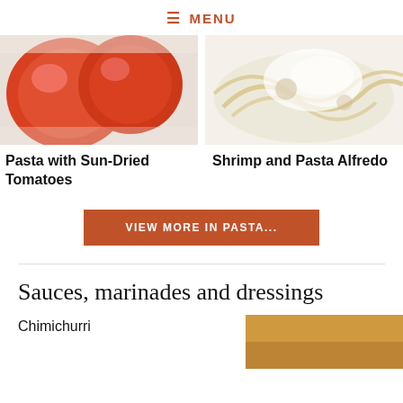≡ MENU
[Figure (photo): Close-up photo of red tomatoes]
[Figure (photo): Plate of shrimp and pasta alfredo with cream sauce]
Pasta with Sun-Dried Tomatoes
Shrimp and Pasta Alfredo
VIEW MORE IN PASTA...
Sauces, marinades and dressings
Chimichurri
[Figure (photo): Partial photo with warm brown/tan background, likely a sauce or ingredient]